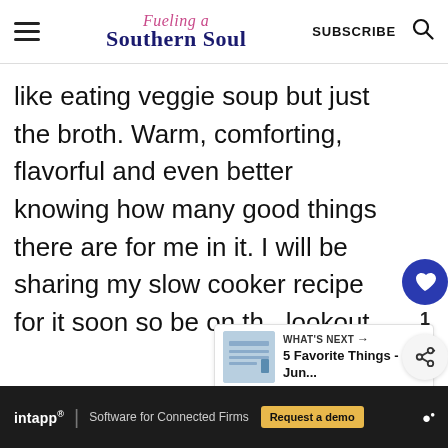Fueling a Southern Soul — SUBSCRIBE
like eating veggie soup but just the broth. Warm, comforting, flavorful and even better knowing how many good things there are for me in it. I will be sharing my slow cooker recipe for it soon so be on the lookout.
[Figure (other): What's Next card showing '5 Favorite Things - Jun...']
[Figure (other): Advertisement bar: intapp | Software for Connected Firms — Request a demo button]